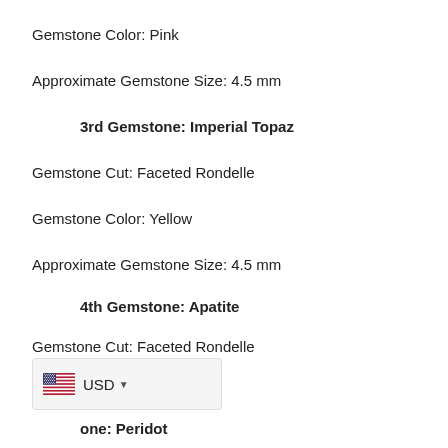Gemstone Color: Pink
Approximate Gemstone Size: 4.5 mm
3rd Gemstone: Imperial Topaz
Gemstone Cut: Faceted Rondelle
Gemstone Color: Yellow
Approximate Gemstone Size: 4.5 mm
4th Gemstone: Apatite
Gemstone Cut: Faceted Rondelle
Gemstone Color: Sky Blue
Approximate Gemstone Size: 4.5 mm
one: Peridot
Gemstone Cut: Faceted Rondelle